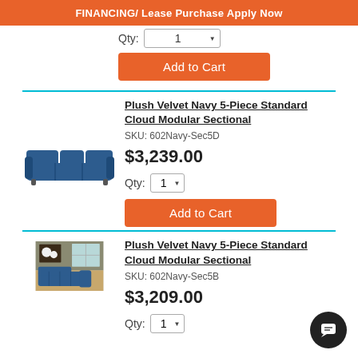FINANCING / Lease Purchase Apply Now
Qty: 1
Add to Cart
Plush Velvet Navy 5-Piece Standard Cloud Modular Sectional
SKU: 602Navy-Sec5D
$3,239.00
Qty: 1
Add to Cart
Plush Velvet Navy 5-Piece Standard Cloud Modular Sectional
SKU: 602Navy-Sec5B
$3,209.00
Qty: 1